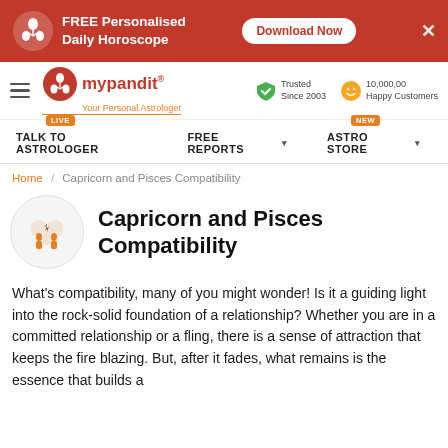[Figure (screenshot): Red ad banner for mypandit app with FREE Personalised Daily Horoscope text and Download Now button]
[Figure (logo): mypandit logo with red circle icon and tagline Your Personal Astrologer, plus Trusted Since 2003 and 10,000,00 Happy Customers badges]
TALK TO ASTROLOGER | FREE REPORTS | ASTRO STORE
Home / Capricorn and Pisces Compatibility
Capricorn and Pisces Compatibility
What's compatibility, many of you might wonder! Is it a guiding light into the rock-solid foundation of a relationship? Whether you are in a committed relationship or a fling, there is a sense of attraction that keeps the fire blazing. But, after it fades, what remains is the essence that builds a